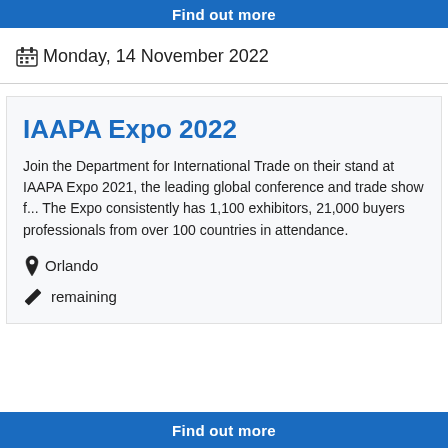Find out more
Monday, 14 November 2022
IAAPA Expo 2022
Join the Department for International Trade on their stand at IAAPA Expo 2021, the leading global conference and trade show f... The Expo consistently has 1,100 exhibitors, 21,000 buyers professionals from over 100 countries in attendance.
Orlando
remaining
Find out more